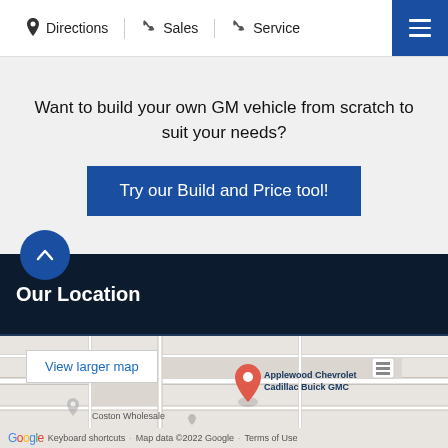Directions | Sales | Service
Want to build your own GM vehicle from scratch to suit your needs?
Try our Build and Price tool!
Our Location
[Figure (map): Google Map showing Applewood Chevrolet Cadillac Buick GMC location with surrounding streets and a Coston Wholesale nearby. Includes a 'View larger map' button. Footer shows Google branding, Keyboard shortcuts, Map data ©2022 Google, Terms of Use.]